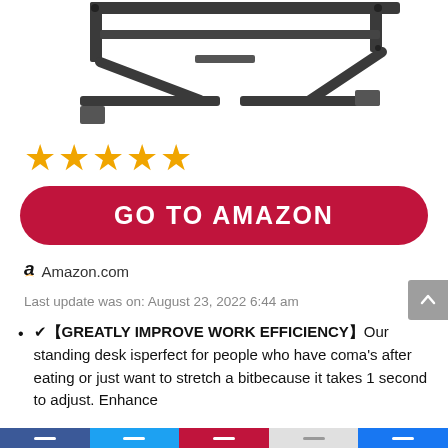[Figure (photo): Product photo of a standing desk converter frame (black metal frame structure) shown from above on white background, partially cropped at top]
[Figure (other): Five gold/orange star rating icons]
GO TO AMAZON
Amazon.com
Last update was on: August 23, 2022 6:44 am
✔︎【GREATLY IMPROVE WORK EFFICIENCY】Our standing desk isperfect for people who have coma's after eating or just want to stretch a bitbecause it takes 1 second to adjust. Enhance